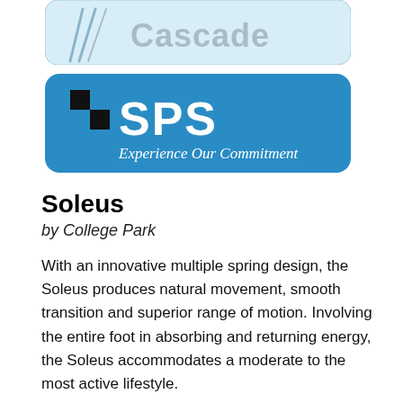[Figure (logo): Cascade logo — partial view at top, light blue rounded rectangle with Cascade text and swoosh graphic]
[Figure (logo): SPS logo — blue rounded rectangle with black and white checkerboard icon, bold white SPS text, and italic tagline 'Experience Our Commitment']
Soleus
by College Park
With an innovative multiple spring design, the Soleus produces natural movement, smooth transition and superior range of motion. Involving the entire foot in absorbing and returning energy, the Soleus accommodates a moderate to the most active lifestyle.
Our Soleus foot is the perfect balance for sports enthusiasts that still need a foot to stand on. The foot